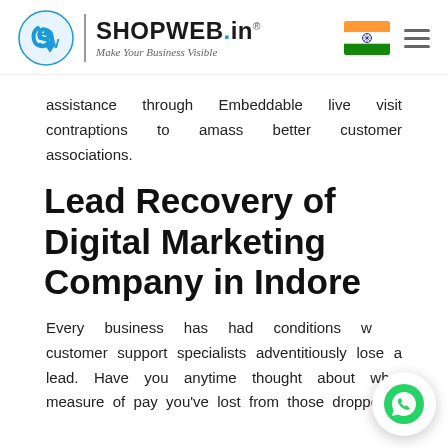[Figure (logo): ShopWeb.in logo with circular SW icon, vertical divider, SHOPWEB.in text and tagline 'Make Your Business Visible', Indian flag, and hamburger menu icon]
assistance through Embeddable live visit contraptions to amass better customer associations.
Lead Recovery of Digital Marketing Company in Indore
Every business has had conditions where customer support specialists adventitiously lose a lead. Have you anytime thought about what measure of pay you've lost from those dropped